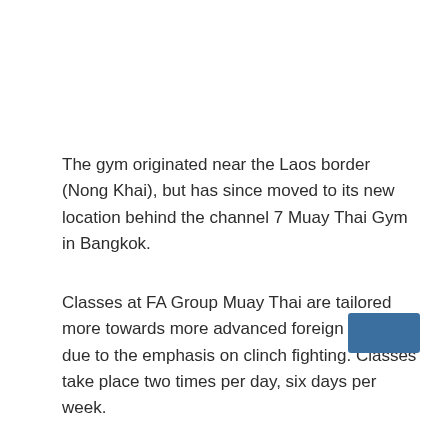The gym originated near the Laos border (Nong Khai), but has since moved to its new location behind the channel 7 Muay Thai Gym in Bangkok.
Classes at FA Group Muay Thai are tailored more towards more advanced foreign fighters, due to the emphasis on clinch fighting. Classes take place two times per day, six days per week.
[Figure (other): Blue rectangular button/navigation element in the bottom right corner]